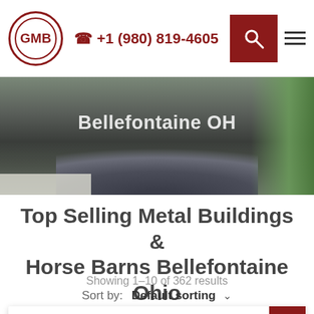+1 (980) 819-4605
[Figure (photo): Hero banner photo showing gravel pile with green panel on left, vegetation on right, and 'Bellefontaine OH' text overlay]
Top Selling Metal Buildings & Horse Barns Bellefontaine Ohio
Showing 1–10 of 362 results
Sort by: Default sorting
44x25x10 Combination Utility Building
Starting At: $21958